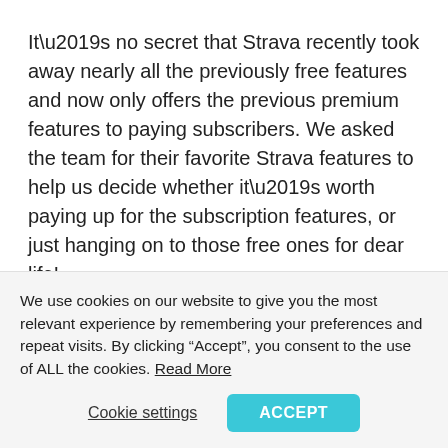It’s no secret that Strava recently took away nearly all the previously free features and now only offers the previous premium features to paying subscribers. We asked the team for their favorite Strava features to help us decide whether it’s worth paying up for the subscription features, or just hanging on to those free ones for dear life!
Here are their faves:
We use cookies on our website to give you the most relevant experience by remembering your preferences and repeat visits. By clicking “Accept”, you consent to the use of ALL the cookies. Read More
Cookie settings | ACCEPT